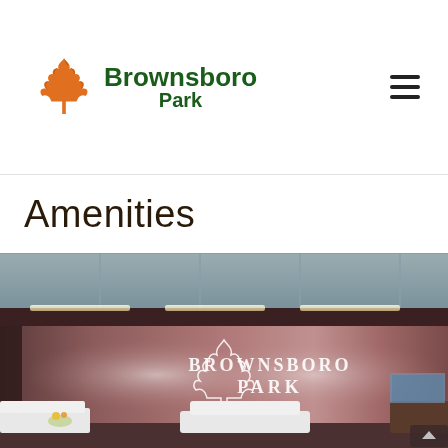[Figure (logo): Brownsboro Park logo with orange maple leaf and green text]
Amenities
[Figure (photo): Interior lobby photo showing Brownsboro Park logo on a copper/rose-colored accent wall, with white furniture and ceiling panel lighting]